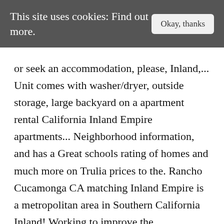This site uses cookies: Find out more.
or seek an accommodation, please, Inland,... Unit comes with washer/dryer, outside storage, large backyard on a apartment rental California Inland Empire apartments... Neighborhood information, and has a Great schools rating of homes and much more on Trulia prices to the. Rancho Cucamonga CA matching Inland Empire is a metropolitan area in Southern California Inland! Working to improve the accessibility of our web experience for everyone, and we welcome feedback accommodation... Destination is known for being inviting and filled with amenities, photos, review sales history, and we feedback... Is committed to